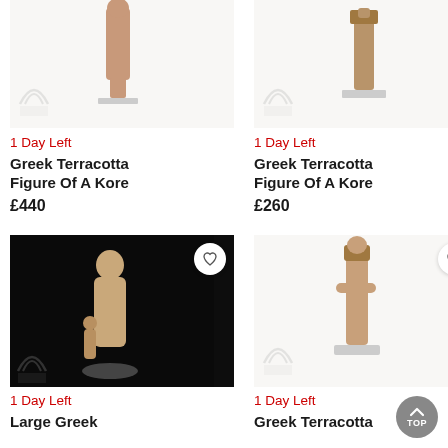[Figure (photo): Greek terracotta female figure (kore) standing on white base, light background, with watermark]
1 Day Left
Greek Terracotta Figure Of A Kore
£440
[Figure (photo): Greek terracotta kore figure on plinth, light background, with watermark]
1 Day Left
Greek Terracotta Figure Of A Kore
£260
[Figure (photo): Large Greek statue of female figure with child on dark/black background, with heart button]
1 Day Left
Large Greek
[Figure (photo): Greek terracotta figure of kore, light background, with watermark and heart button]
1 Day Left
Greek Terracotta